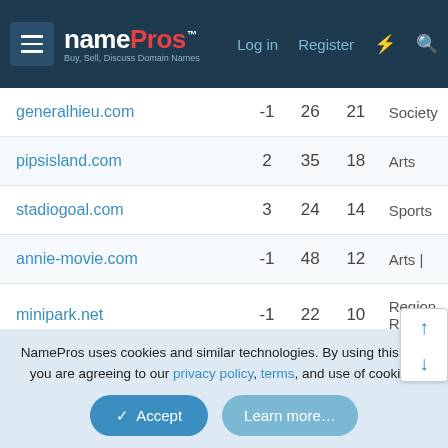NamePros — Buy, Sell, Discuss Domain Names | Log in | Register
| Domain |  |  |  | Category |
| --- | --- | --- | --- | --- |
| generalhieu.com | -1 | 26 | 21 | Society |
| pipsisland.com | 2 | 35 | 18 | Arts |
| stadiogoal.com | 3 | 24 | 14 | Sports |
| annie-movie.com | -1 | 48 | 12 | Arts | |
| minipark.net | -1 | 22 | 10 | Regional Regional |
| mcmfamily.com | -1 | 40 | 28 | Business Com and Se |
| cidem.com | -1 | 34 | 19 | Hea |
NamePros uses cookies and similar technologies. By using this site, you are agreeing to our privacy policy, terms, and use of cookies.
Accept
Learn more…